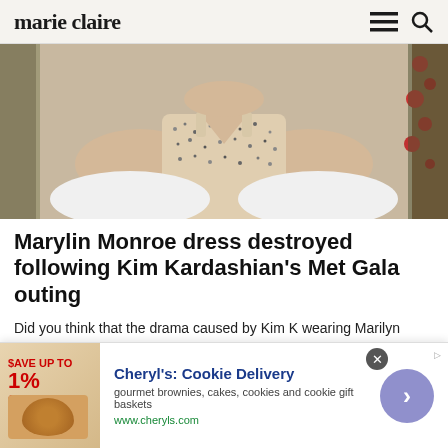marie claire
[Figure (photo): Close-up photo of a person wearing a sparkly/sequined nude/beige dress against a floral background]
Marylin Monroe dress destroyed following Kim Kardashian's Met Gala outing
Did you think that the drama caused by Kim K wearing Marilyn Monroe's dress to the Met Gala was over? Not ...
Marie Claire
[Figure (photo): Partial view of a brick wall building exterior]
[Figure (other): Advertisement banner for Cheryl's Cookie Delivery: gourmet brownies, cakes, cookies and cookie gift baskets. www.cheryls.com]